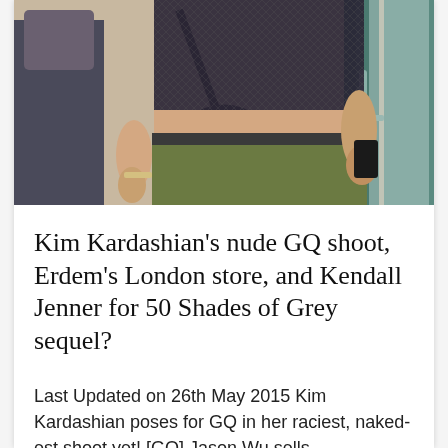[Figure (photo): A woman wearing a dark knit mesh crop top and olive/army green shorts, carrying a black shoulder bag, walking near a building entrance with glass doors. Another person in a dark jacket is partially visible behind her.]
Kim Kardashian's nude GQ shoot, Erdem's London store, and Kendall Jenner for 50 Shades of Grey sequel?
Last Updated on 26th May 2015 Kim Kardashian poses for GQ in her raciest, naked-est shoot yet! [GQ] Jason Wu sells